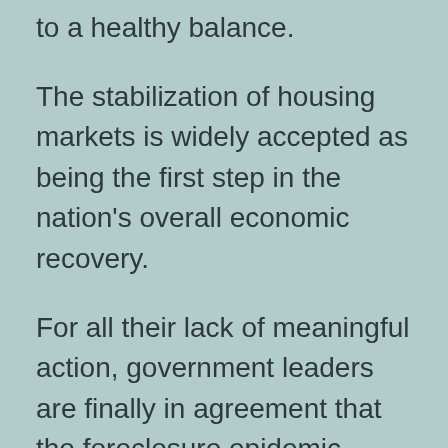to a healthy balance.
The stabilization of housing markets is widely accepted as being the first step in the nation's overall economic recovery.
For all their lack of meaningful action, government leaders are finally in agreement that the foreclosure epidemic, which was forecast by Housing Predictor nearly three years ago, is the most severe economic problem facing the U.S. today. Without stabilization in housing from the worst housing depression since the Great Depression, real estate economists warn the economy will